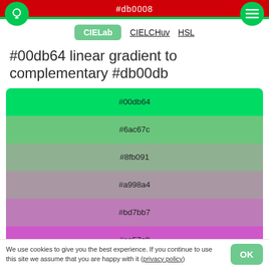#db0008
CIELab  CIELCHuv  HSL
#00db64 linear gradient to complementary #db00db
[Figure (infographic): Linear gradient swatches from #00db64 (green) to #db00db (magenta) with 7 color stops: #00db64, #6ac67c, #8fb091, #a998a4, #bd7bb7, #ce57c9, #db00db]
We use cookies to give you the best experience. If you continue to use this site we assume that you are happy with it (privacy policy)